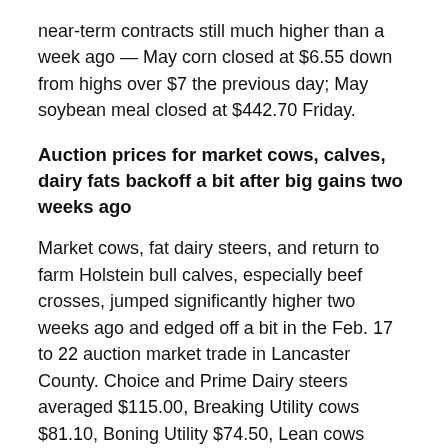near-term contracts still much higher than a week ago — May corn closed at $6.55 down from highs over $7 the previous day; May soybean meal closed at $442.70 Friday.
Auction prices for market cows, calves, dairy fats backoff a bit after big gains two weeks ago
Market cows, fat dairy steers, and return to farm Holstein bull calves, especially beef crosses, jumped significantly higher two weeks ago and edged off a bit in the Feb. 17 to 22 auction market trade in Lancaster County. Choice and Prime Dairy steers averaged $115.00, Breaking Utility cows $81.10, Boning Utility $74.50, Lean cows $65.75. Holstein bulls 90 to 125 lbs averaged $143.00 with beef crosses bringing more than double, averaging $340.00; 80-100 lb $130.00, beef crosses $280.00.